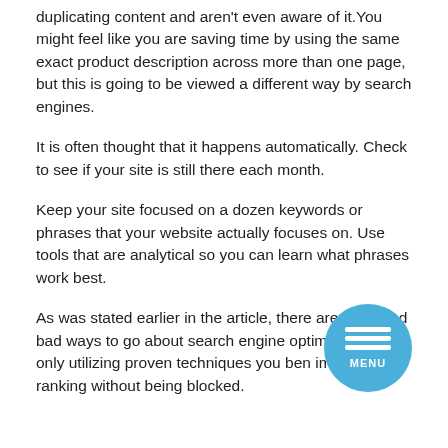duplicating content and aren't even aware of it. You might feel like you are saving time by using the same exact product description across more than one page, but this is going to be viewed a different way by search engines.
It is often thought that it happens automatically. Check to see if your site is still there each month.
Keep your site focused on a dozen keywords or phrases that your website actually focuses on. Use tools that are analytical so you can learn what phrases work best.
As was stated earlier in the article, there are good and bad ways to go about search engine optimization. By only utilizing proven techniques you ben improve your ranking without being blocked.
[Figure (other): Circular menu button with three horizontal white lines and 'MENU' label on a blue background]